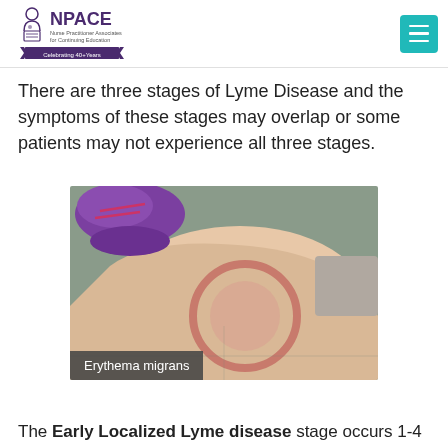NPACE - Nurse Practitioner Associates for Continuing Education - Celebrating 40+ Years
There are three stages of Lyme Disease and the symptoms of these stages may overlap or some patients may not experience all three stages.
[Figure (photo): Photo of a person's leg showing a circular red rash (erythema migrans) characteristic of Lyme disease, with purple sneaker visible at top. Caption overlay reads 'Erythema migrans'.]
The Early Localized Lyme disease stage occurs 1-4